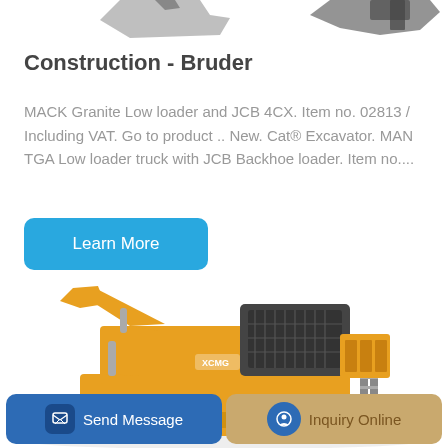[Figure (photo): Partial top view of construction machinery silhouettes on white background]
Construction - Bruder
MACK Granite Low loader and JCB 4CX. Item no. 02813 / Including VAT. Go to product .. New. Cat® Excavator. MAN TGA Low loader truck with JCB Backhoe loader. Item no....
[Figure (photo): Large yellow XCMG mining/construction excavator machine photographed on white background]
Send Message
Inquiry Online